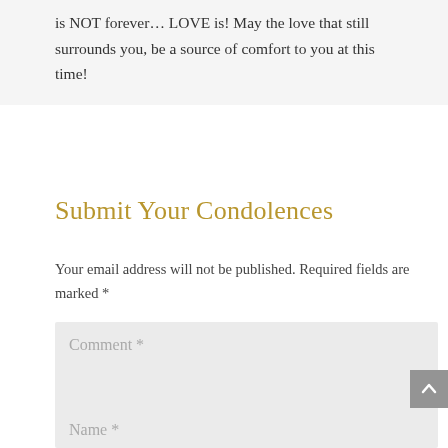is NOT forever… LOVE is! May the love that still surrounds you, be a source of comfort to you at this time!
Submit Your Condolences
Your email address will not be published. Required fields are marked *
Comment *
Name *